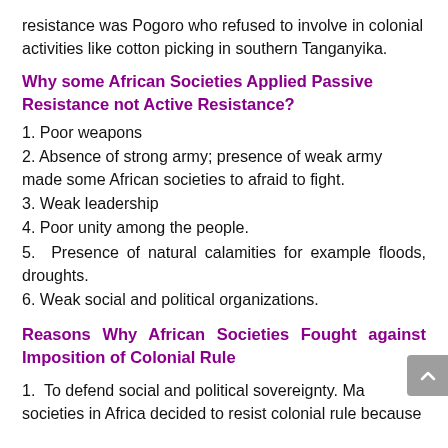resistance was Pogoro who refused to involve in colonial activities like cotton picking in southern Tanganyika.
Why some African Societies Applied Passive Resistance not Active Resistance?
1. Poor weapons
2. Absence of strong army; presence of weak army made some African societies to afraid to fight.
3. Weak leadership
4. Poor unity among the people.
5. Presence of natural calamities for example floods, droughts.
6. Weak social and political organizations.
Reasons Why African Societies Fought against Imposition of Colonial Rule
1.  To defend social and political sovereignty. Many societies in Africa decided to resist colonial rule because